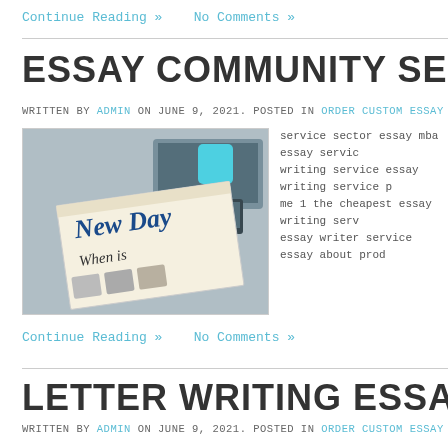Continue Reading »    No Comments »
ESSAY COMMUNITY SERVI
WRITTEN BY ADMIN ON JUNE 9, 2021. POSTED IN ORDER CUSTOM ESSAY
[Figure (photo): Photo of a newspaper with 'New Day' headline and 'When is' subheading on a desk]
service sector essay mba essay service writing service essay writing service p me 1 the cheapest essay writing serv essay writer service essay about prod
Continue Reading »    No Comments »
LETTER WRITING ESSAY
WRITTEN BY ADMIN ON JUNE 9, 2021. POSTED IN ORDER CUSTOM ESSAY
best graduate school admission essay service help writing cause effect essa objectives essay writing plan top ten